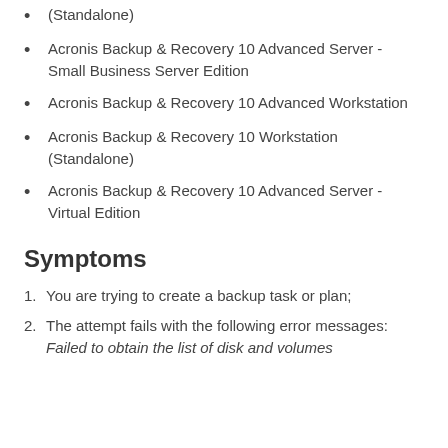(Standalone)
Acronis Backup & Recovery 10 Advanced Server - Small Business Server Edition
Acronis Backup & Recovery 10 Advanced Workstation
Acronis Backup & Recovery 10 Workstation (Standalone)
Acronis Backup & Recovery 10 Advanced Server - Virtual Edition
Symptoms
You are trying to create a backup task or plan;
The attempt fails with the following error messages: Failed to obtain the list of disk and volumes